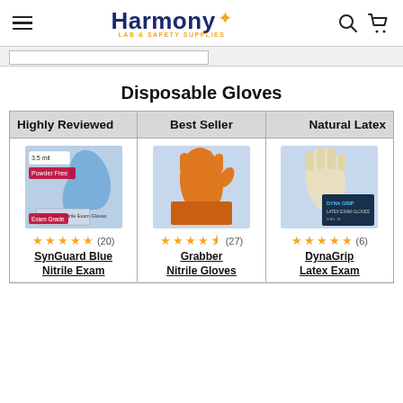Harmony Lab & Safety Supplies — navigation header with logo, search, and cart icons
Disposable Gloves
| Highly Reviewed | Best Seller | Natural Latex |
| --- | --- | --- |
| [SynGuard Blue Nitrile Exam image] | [Grabber Nitrile Gloves image] | [DynaGrip Latex Exam image] |
| ★★★★★ (20) | ★★★★½ (27) | ★★★★★ (6) |
| SynGuard Blue Nitrile Exam | Grabber Nitrile Gloves | DynaGrip Latex Exam |